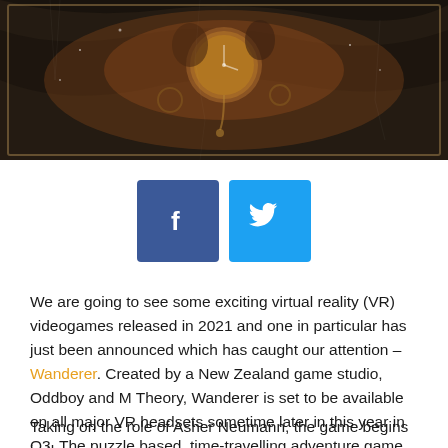[Figure (illustration): Dark fantasy/steampunk banner image with figures and a clock on dark background with marble-like texture]
[Figure (infographic): Two social sharing buttons: Facebook (dark blue with 'f' icon) and Twitter (light blue with bird icon)]
We are going to see some exciting virtual reality (VR) videogames released in 2021 and one in particular has just been announced which has caught our attention – Wanderer. Created by a New Zealand game studio, Oddboy and M Theory, Wanderer is set to be available on all major VR headsets sometime later in this year in Q3. The puzzle based, time-travelling adventure game will send us on a journey back through history to prevent the collapse of civilization itself.
Taking on the role of Asher Neumann, the game begins in the